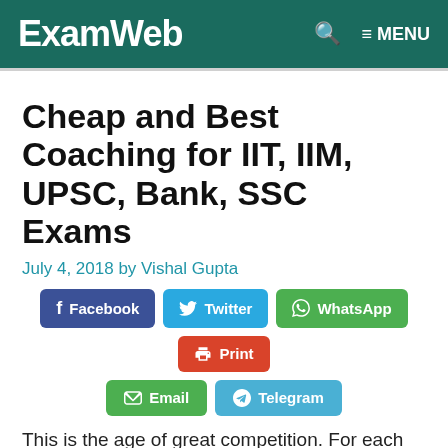ExamWeb   Q  ≡ MENU
Cheap and Best Coaching for IIT, IIM, UPSC, Bank, SSC Exams
July 4, 2018 by Vishal Gupta
[Figure (infographic): Social share buttons: Facebook, Twitter, WhatsApp, Print, Email, Telegram]
This is the age of great competition. For each and every job lakhs of candidates apply. And most of them come to face the exam with full preparation.